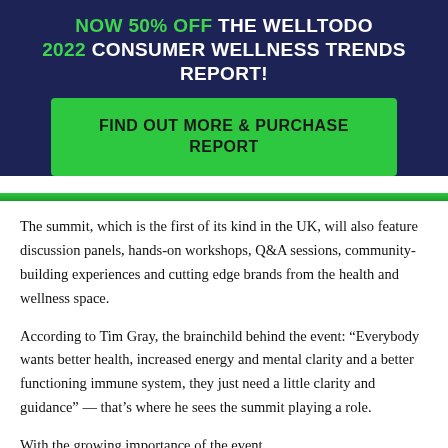NOW 50% OFF THE WELLTODO 2022 CONSUMER WELLNESS TRENDS REPORT!
FIND OUT MORE & PURCHASE REPORT
The summit, which is the first of its kind in the UK, will also feature discussion panels, hands-on workshops, Q&A sessions, community-building experiences and cutting edge brands from the health and wellness space.
According to Tim Gray, the brainchild behind the event: “Everybody wants better health, increased energy and mental clarity and a better functioning immune system, they just need a little clarity and guidance” — that’s where he sees the summit playing a role.
With the growing importance of the event…